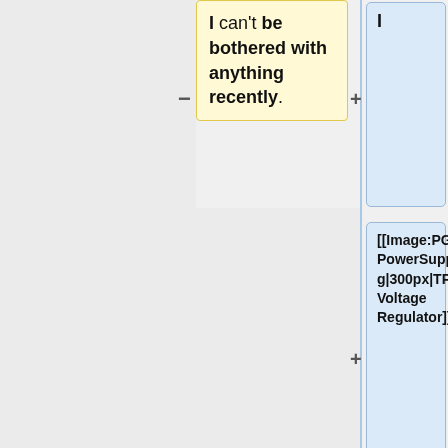I can't be bothered with anything recently.
I
[[Image:PG31-PowerSupply.jpg|300px|TPS Voltage Regulator]]
|}
<b>Description:</b><br> These large current, high voltage diodes can be used for a multitude of purposes. Really, we just use them for